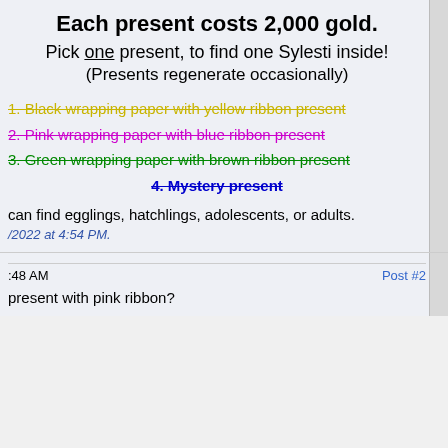Each present costs 2,000 gold.
Pick one present, to find one Sylesti inside!
(Presents regenerate occasionally)
1. Black wrapping paper with yellow ribbon present (strikethrough, yellow)
2. Pink wrapping paper with blue ribbon present (strikethrough, magenta)
3. Green wrapping paper with brown ribbon present (strikethrough, green)
4. Mystery present (strikethrough, blue)
can find egglings, hatchlings, adolescents, or adults.
/2022 at 4:54 PM.
:48 AM   Post #2
present with pink ribbon?